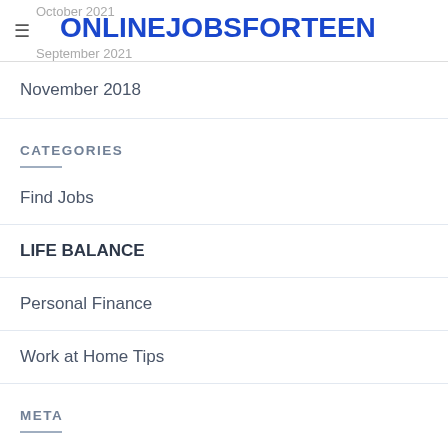October 2021  ONLINEJOBSFORTEEN  September 2021
November 2018
CATEGORIES
Find Jobs
LIFE BALANCE
Personal Finance
Work at Home Tips
META
Log in